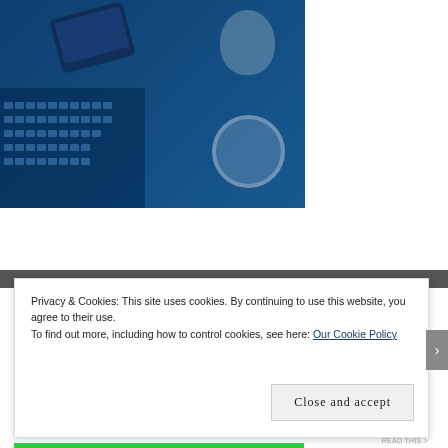[Figure (photo): Overhead blue-tinted photo of a laptop keyboard, smartphone, two cups/mugs, and a decorative clock on a blue desk surface.]
Privacy & Cookies: This site uses cookies. By continuing to use this website, you agree to their use.
To find out more, including how to control cookies, see here: Our Cookie Policy
Close and accept